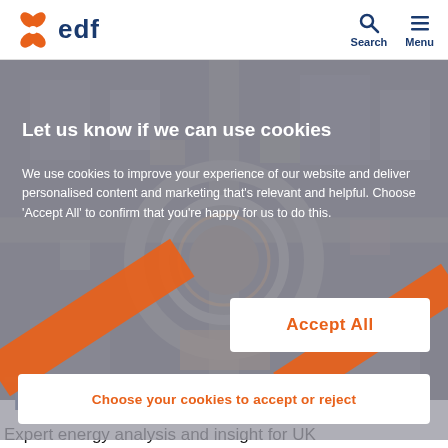[Figure (logo): EDF logo with orange flower/pinwheel icon and blue 'edf' text]
[Figure (screenshot): Website screenshot showing EDF Talk Power page with cookie consent overlay on aerial city image]
Let us know if we can use cookies
We use cookies to improve your experience of our website and deliver personalised content and marketing that's relevant and helpful. Choose 'Accept All' to confirm that you're happy for us to do this.
Accept All
Choose your cookies to accept or reject
Talk Power
Expert energy analysis and insight for UK